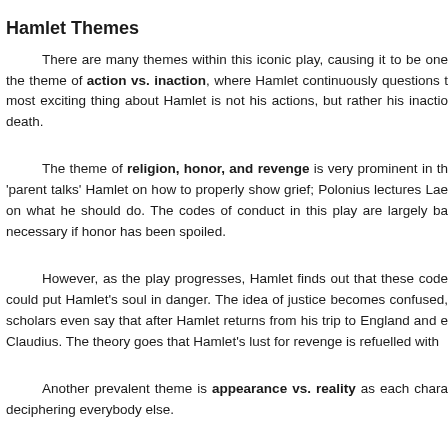Hamlet Themes
There are many themes within this iconic play, causing it to be one the theme of action vs. inaction, where Hamlet continuously questions t most exciting thing about Hamlet is not his actions, but rather his inactio death.
The theme of religion, honor, and revenge is very prominent in th 'parent talks' Hamlet on how to properly show grief; Polonius lectures Lae on what he should do. The codes of conduct in this play are largely ba necessary if honor has been spoiled.
However, as the play progresses, Hamlet finds out that these code could put Hamlet's soul in danger. The idea of justice becomes confused, scholars even say that after Hamlet returns from his trip to England and e Claudius. The theory goes that Hamlet's lust for revenge is refuelled with
Another prevalent theme is appearance vs. reality as each chara deciphering everybody else.